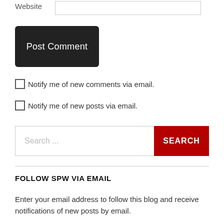Website
Post Comment
Notify me of new comments via email.
Notify me of new posts via email.
Search ...
SEARCH
FOLLOW SPW VIA EMAIL
Enter your email address to follow this blog and receive notifications of new posts by email.